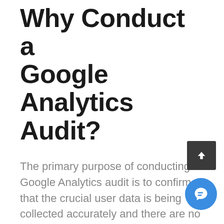Why Conduct a Google Analytics Audit?
The primary purpose of conducting a Google Analytics audit is to confirm that the crucial user data is being collected accurately and there are no loopholes.
A high-level analytics audit ensures optimal data quality.
Here are the top reasons why conduct a Google Analytics audit is necessary: